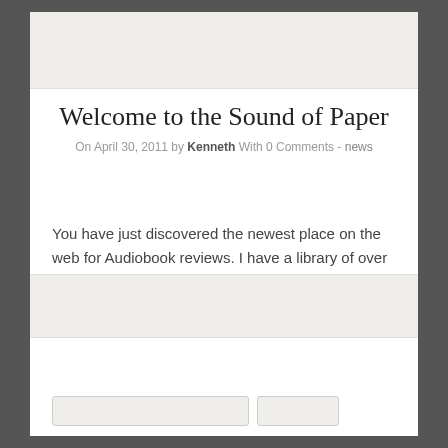Welcome to the Sound of Paper
On April 30, 2011 by Kenneth With 0 Comments - news
You have just discovered the newest place on the web for Audiobook reviews. I have a library of over 500 book and would love to share my thoughts with you. I usually get 2 to 3 books read a week.